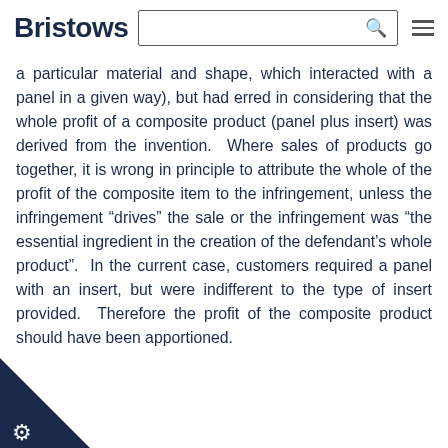Bristows
a particular material and shape, which interacted with a panel in a given way), but had erred in considering that the whole profit of a composite product (panel plus insert) was derived from the invention.  Where sales of products go together, it is wrong in principle to attribute the whole of the profit of the composite item to the infringement, unless the infringement “drives” the sale or the infringement was “the essential ingredient in the creation of the defendant’s whole product”.  In the current case, customers required a panel with an insert, but were indifferent to the type of insert provided.  Therefore the profit of the composite product should have been apportioned.